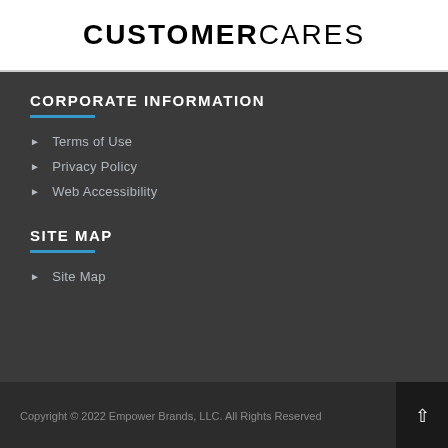CUSTOMERCARES
CORPORATE INFORMATION
Terms of Use
Privacy Policy
Web Accessibility
SITE MAP
Site Map
Copyright © 2022 Empower Brands, LLC. All Rights Reserved